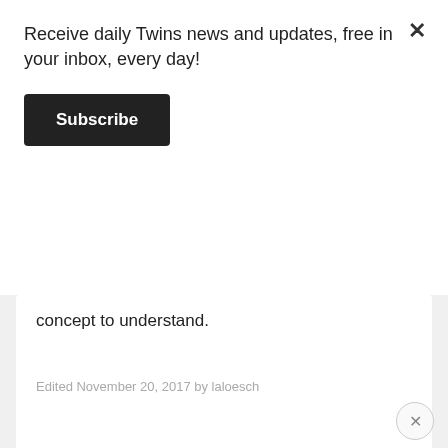Receive daily Twins news and updates, free in your inbox, every day!
Subscribe
concept to understand.
Edited November 20, 2017 by laloesch
+ Quote
2
Dantes929  4,529
Verified Member
Posted November 20, 2017